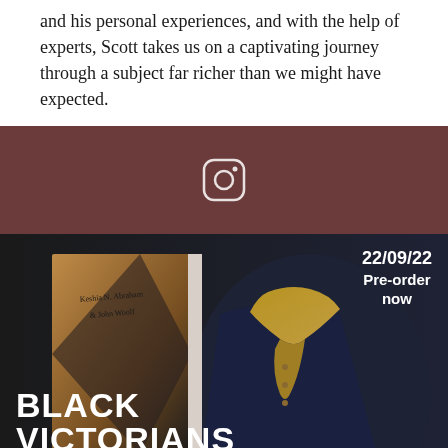and his personal experiences, and with the help of experts, Scott takes us on a captivating journey through a subject far richer than we might have expected.
[Figure (other): Dark mauve/brown banner with an Instagram icon centered in it]
[Figure (photo): Book cover promotional image for 'Black Victorians' by Keshia N. Abraham & John Woolf, showing a person in Victorian dress with a gold cravat, with text '22/09/22 Pre-order now' in the upper right corner and the book title 'BLACK VICTORIANS' in bold white text at the bottom left.]